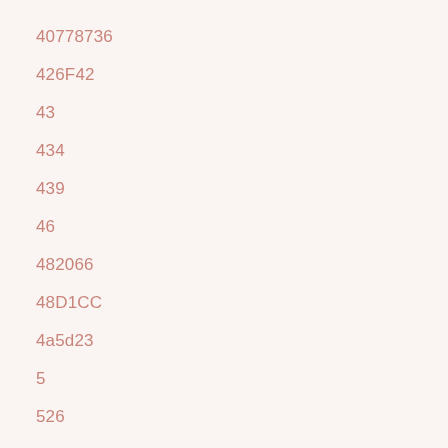40778736
426F42
43
434
439
46
482066
48D1CC
4a5d23
5
526
556B2F
559
5GallonGlassContainers